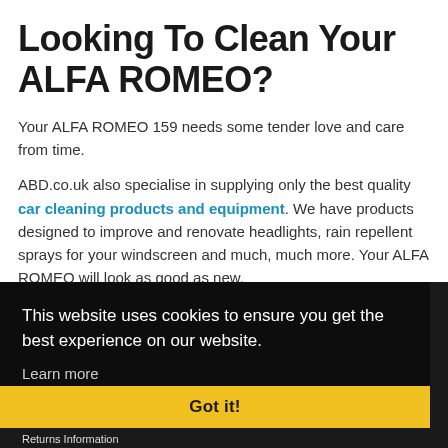Looking To Clean Your ALFA ROMEO?
Your ALFA ROMEO 159 needs some tender love and care from time.
ABD.co.uk also specialise in supplying only the best quality car cleaning products and equipment. We have products designed to improve and renovate headlights, rain repellent sprays for your windscreen and much, much more. Your ALFA ROMEO will look as good as new.
This website uses cookies to ensure you get the best experience on our website.
Learn more
Required
Got it!
Returns Information